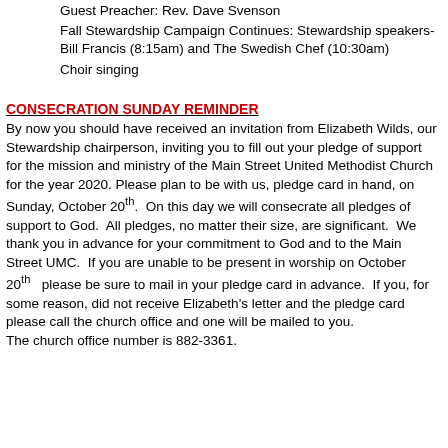Guest Preacher: Rev. Dave Svenson
Fall Stewardship Campaign Continues: Stewardship speakers- Bill Francis (8:15am) and The Swedish Chef (10:30am)
Choir singing
CONSECRATION SUNDAY REMINDER
By now you should have received an invitation from Elizabeth Wilds, our Stewardship chairperson, inviting you to fill out your pledge of support for the mission and ministry of the Main Street United Methodist Church for the year 2020. Please plan to be with us, pledge card in hand, on Sunday, October 20th. On this day we will consecrate all pledges of support to God. All pledges, no matter their size, are significant. We thank you in advance for your commitment to God and to the Main Street UMC. If you are unable to be present in worship on October 20th please be sure to mail in your pledge card in advance. If you, for some reason, did not receive Elizabeth's letter and the pledge card please call the church office and one will be mailed to you. The church office number is 882-3361.